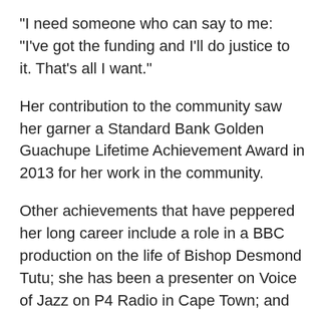“I need someone who can say to me: “I’ve got the funding and I’ll do justice to it. That’s all I want.”
Her contribution to the community saw her garner a Standard Bank Golden Guachupe Lifetime Achievement Award in 2013 for her work in the community.
Other achievements that have peppered her long career include a role in a BBC production on the life of Bishop Desmond Tutu; she has been a presenter on Voice of Jazz on P4 Radio in Cape Town; and she is also a member of the board of Fine Music Radio, a classical/jazz station.
One highlight of her career that she does rate up there with the best of them is her chance meeting with US singer Natalie Cole.
“When Natalie Cole was in Cape Town she dined at the